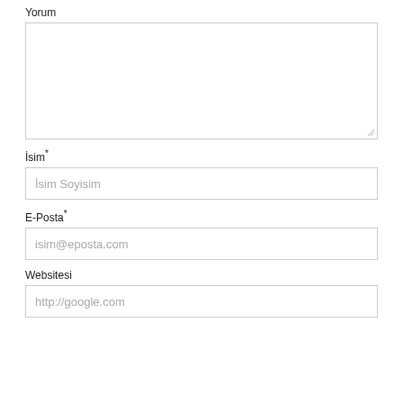Yorum
[Figure (other): Large textarea input box for comment (Yorum) with resize handle at bottom right]
İsim*
[Figure (other): Text input field with placeholder 'İsim Soyisim']
E-Posta*
[Figure (other): Text input field with placeholder 'isim@eposta.com']
Websitesi
[Figure (other): Text input field with placeholder 'http://google.com']